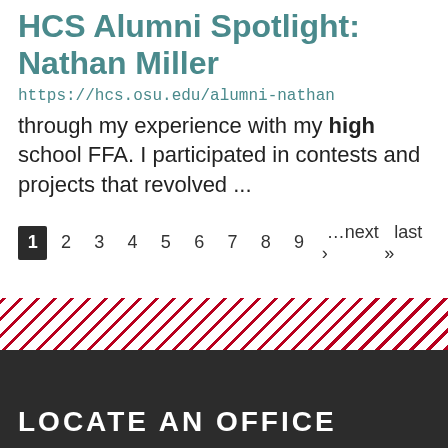HCS Alumni Spotlight: Nathan Miller
https://hcs.osu.edu/alumni-nathan
through my experience with my high school FFA. I participated in contests and projects that revolved ...
1 2 3 4 5 6 7 8 9 …next › last »
LOCATE AN OFFICE